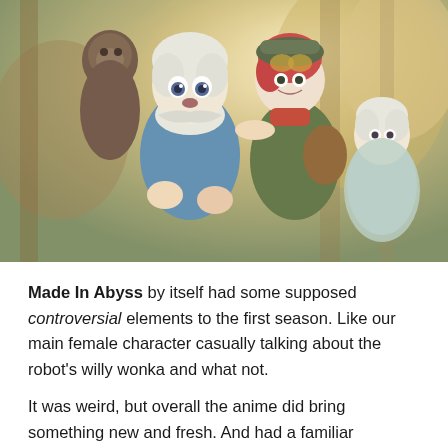[Figure (illustration): Anime illustration from Made In Abyss showing four characters: a white-haired girl in the foreground with wide eyes and a fur-trimmed outfit, a red-haired girl with goggles wearing a green hat and dark coat, a monkey-like creature in the back left, and a white-haired boy in the back right wearing a light blue cloak. The background shows a warm, hazy forest environment.]
Made In Abyss by itself had some supposed controversial elements to the first season. Like our main female character casually talking about the robot's willy wonka and what not.
It was weird, but overall the anime did bring something new and fresh. And had a familiar